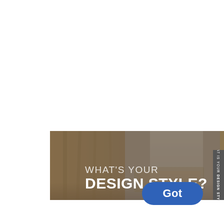[Figure (illustration): Interior design banner image showing a bedroom/living space with warm gold curtains, a bed with decorative headboard, and soft window light. Text overlay reads 'WHAT'S YOUR DESIGN STYLE?' in white lettering on a semi-transparent background.]
WHAT'S YOUR DESIGN STYLE?
[Figure (other): Dark grey vertical side tab on the right edge with rotated text 'WHAT IS YOUR DESIGN STYLE?' where DESIGN STYLE is bold.]
Got